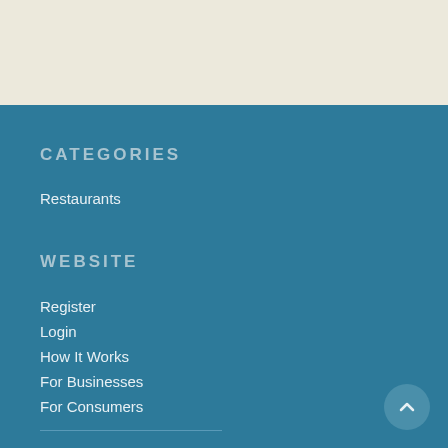CATEGORIES
Restaurants
WEBSITE
Register
Login
How It Works
For Businesses
For Consumers